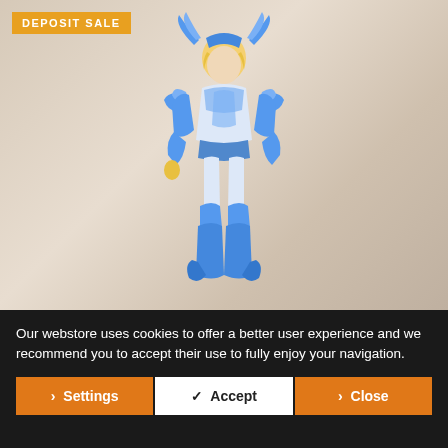[Figure (photo): Product photo of a blue armored anime action figure (Saint Seiya style) with blonde hair and blue armor, standing pose, on beige/marble background. A yellow 'DEPOSIT SALE' badge is overlaid in the top-left corner.]
Our webstore uses cookies to offer a better user experience and we recommend you to accept their use to fully enjoy your navigation.
› Settings
✓ Accept
› Close